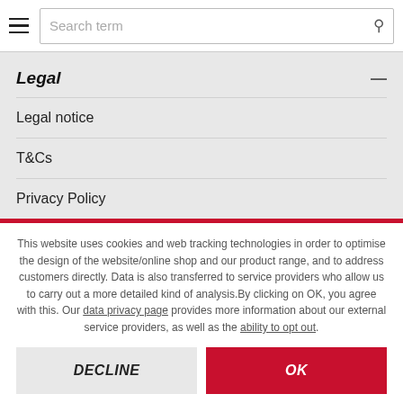Search term
Legal
Legal notice
T&Cs
Privacy Policy
This website uses cookies and web tracking technologies in order to optimise the design of the website/online shop and our product range, and to address customers directly. Data is also transferred to service providers who allow us to carry out a more detailed kind of analysis. By clicking on OK, you agree with this. Our data privacy page provides more information about our external service providers, as well as the ability to opt out.
DECLINE
OK